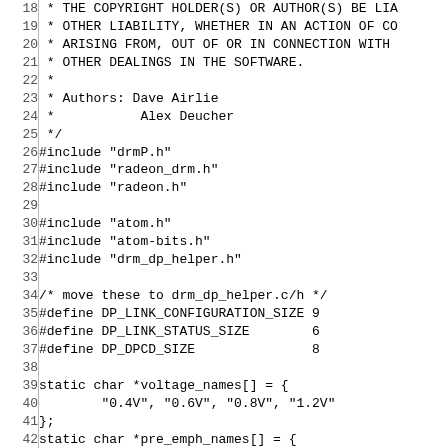Source code excerpt from a radeon display port driver file, lines 18-47
18:  * THE COPYRIGHT HOLDER(S) OR AUTHOR(S) BE LIA
19:  * OTHER LIABILITY, WHETHER IN AN ACTION OF CO
20:  * ARISING FROM, OUT OF OR IN CONNECTION WITH
21:  * OTHER DEALINGS IN THE SOFTWARE.
22:  *
23:  * Authors: Dave Airlie
24:  *           Alex Deucher
25:  */
26: #include "drmP.h"
27: #include "radeon_drm.h"
28: #include "radeon.h"
29:
30: #include "atom.h"
31: #include "atom-bits.h"
32: #include "drm_dp_helper.h"
33:
34: /* move these to drm_dp_helper.c/h */
35: #define DP_LINK_CONFIGURATION_SIZE 9
36: #define DP_LINK_STATUS_SIZE        6
37: #define DP_DPCD_SIZE               8
38:
39: static char *voltage_names[] = {
40:         "0.4V", "0.6V", "0.8V", "1.2V"
41: };
42: static char *pre_emph_names[] = {
43:         "0dB", "3.5dB", "6dB", "9.5dB"
44: };
45:
46: /***** radeon AUX functions *****/
47: union aux_channel_transaction {